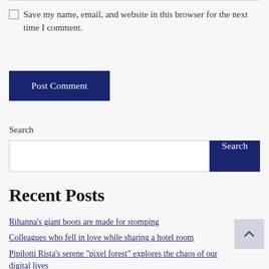Save my name, email, and website in this browser for the next time I comment.
Post Comment
Search
Search
Recent Posts
Rihanna’s giant boots are made for stomping
Colleagues who fell in love while sharing a hotel room
Pipilotti Rista’s serene “pixel forest” explores the chaos of our digital lives
Movements to import Russian oil, military says